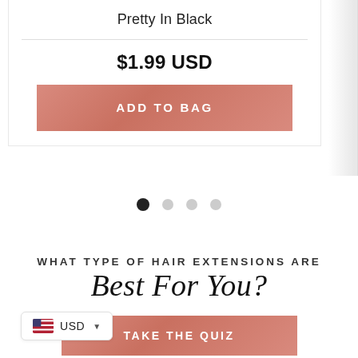Pretty In Black
$1.99 USD
[Figure (screenshot): Pink rose-gold 'ADD TO BAG' button]
[Figure (other): Carousel pagination dots: one filled black, three grey]
WHAT TYPE OF HAIR EXTENSIONS ARE Best For You?
[Figure (screenshot): Pink rose-gold 'TAKE THE QUIZ' button (partially visible)]
[Figure (other): USD currency selector pill with US flag icon]